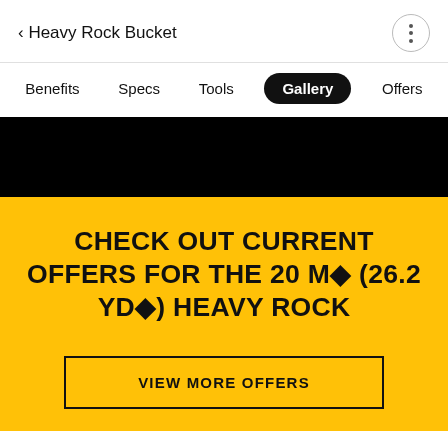< Heavy Rock Bucket
Benefits  Specs  Tools  Gallery  Offers
[Figure (screenshot): Black image area showing a partial view of a heavy rock bucket on yellow/black background]
CHECK OUT CURRENT OFFERS FOR THE 20 M◆ (26.2 YD◆) HEAVY ROCK
VIEW MORE OFFERS